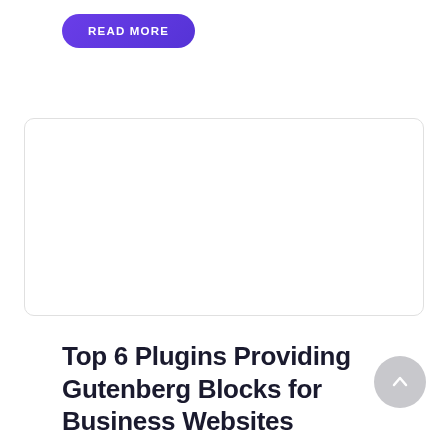READ MORE
[Figure (other): Empty white card with rounded corners and light grey border]
Top 6 Plugins Providing Gutenberg Blocks for Business Websites